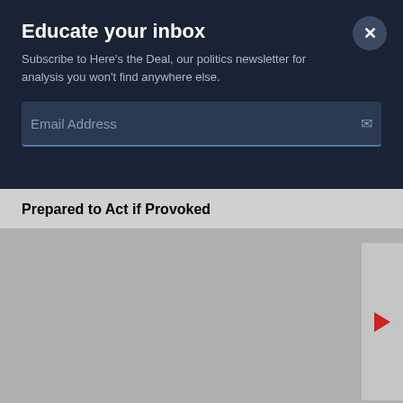Educate your inbox
Subscribe to Here's the Deal, our politics newsletter for analysis you won't find anywhere else.
Email Address
Prepared to Act if Provoked
[Figure (other): PBS NewsHour video thumbnail with repeating PBS NEWS HOUR watermark text pattern on dark navy background, with a red play button on the right side]